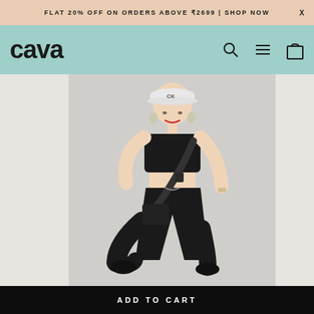FLAT 20% OFF ON ORDERS ABOVE ₹2699 | SHOP NOW   X
[Figure (logo): CAVA brand logo in bold black text on sage/mint green navigation bar, with search, hamburger menu, and shopping bag icons on the right]
[Figure (photo): Fashion model wearing all-black outfit: black crop top, black jogger pants with drawstring, black crossbody bag with tactical strap, white baseball cap, and black sneakers. Model is posed dynamically with one leg raised, against a light grey/white background.]
ADD TO CART